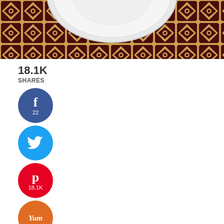[Figure (photo): Top portion of a decorative plate on a patterned tablecloth with geometric dark red and tan/gold repeating design. The plate is white/silver and partially visible at the top of the image.]
18.1K
SHARES
[Figure (infographic): Social sharing buttons: Facebook button (blue circle, 'f' icon, count 22), Twitter button (light blue circle, bird icon), Pinterest button (red circle, 'P' icon, count 18.1K), Yummly button (orange circle, 'Yum' text)]
I made this Chicken Scallopine with Meyer Lemon Sauce for my friend and her family on Friday, hoping to provide some comfort food during this tough time. After making it, I thought to myself – what am I doing… a Chinese American making Italian food for an